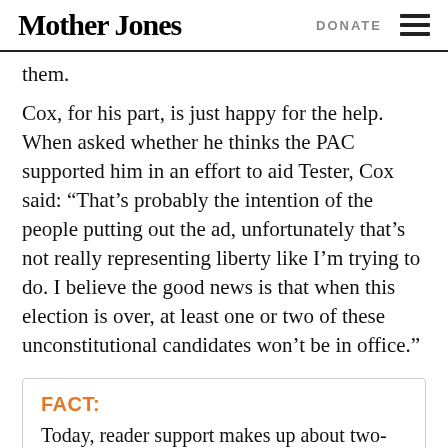Mother Jones  DONATE
them.
Cox, for his part, is just happy for the help. When asked whether he thinks the PAC supported him in an effort to aid Tester, Cox said: “That’s probably the intention of the people putting out the ad, unfortunately that’s not really representing liberty like I’m trying to do. I believe the good news is that when this election is over, at least one or two of these unconstitutional candidates won’t be in office.”
FACT: Today, reader support makes up about two-